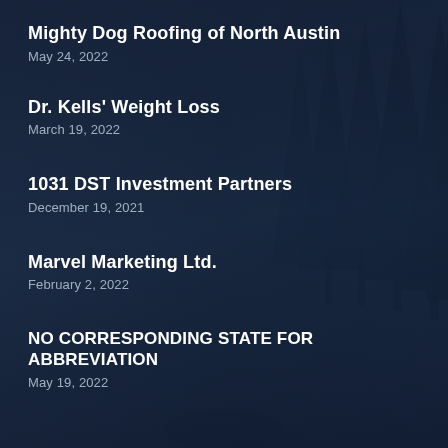Mighty Dog Roofing of North Austin
May 24, 2022
Dr. Kells' Weight Loss
March 19, 2022
1031 DST Investment Partners
December 19, 2021
Marvel Marketing Ltd.
February 2, 2022
NO CORRESPONDING STATE FOR ABBREVIATION
May 19, 2022